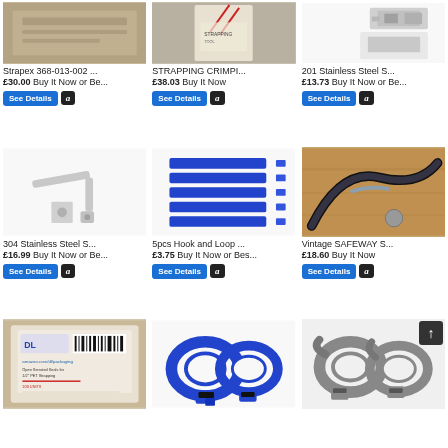[Figure (photo): Strapex 368-013-002 product photo - beige surface with tape]
Strapex 368-013-002 ... £30.00 Buy It Now or Be...
[Figure (photo): STRAPPING CRIMPI... product photo - crimping tool on box]
STRAPPING CRIMPI... £38.03 Buy It Now
[Figure (photo): 201 Stainless Steel S... product photo - metal buckle clips]
201 Stainless Steel S... £13.73 Buy It Now or Be...
[Figure (photo): 304 Stainless Steel S... product photo - hex key and nut]
304 Stainless Steel S... £16.99 Buy It Now or Be...
[Figure (photo): 5pcs Hook and Loop ... product photo - blue velcro straps]
5pcs Hook and Loop ... £3.75 Buy It Now or Bes...
[Figure (photo): Vintage SAFEWAY S... product photo - black strap on wood]
Vintage SAFEWAY S... £18.60 Buy It Now
[Figure (photo): DL packaging product - Open Serrated Seals for 1/2 PET Strapping]
[Figure (photo): Blue hook and loop cable tie straps coiled]
[Figure (photo): Grey hook and loop straps with scroll up button]